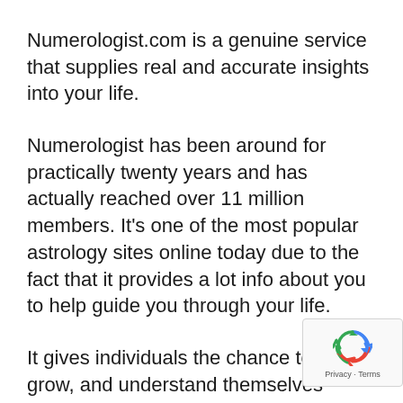Numerologist.com is a genuine service that supplies real and accurate insights into your life.
Numerologist has been around for practically twenty years and has actually reached over 11 million members. It's one of the most popular astrology sites online today due to the fact that it provides a lot info about you to help guide you through your life.
It gives individuals the chance to learn, grow, and understand themselves much better than ever before. And with its variety of functions, it offers an experience unlike anything else on the marketplace today
[Figure (other): reCAPTCHA badge with Google logo and 'Privacy - Terms' text]